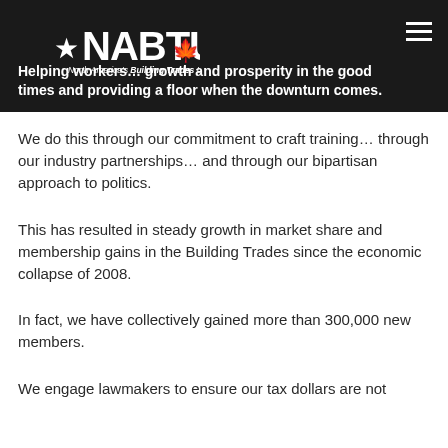Helping workers… growth and prosperity in the good times and providing a floor when the downturn comes.
[Figure (logo): NABTU North America's Building Trades Unions logo — white star, white maple leaf, bold white text NABTU]
We do this through our commitment to craft training… through our industry partnerships… and through our bipartisan approach to politics.
This has resulted in steady growth in market share and membership gains in the Building Trades since the economic collapse of 2008.
In fact, we have collectively gained more than 300,000 new members.
We engage lawmakers to ensure our tax dollars are not